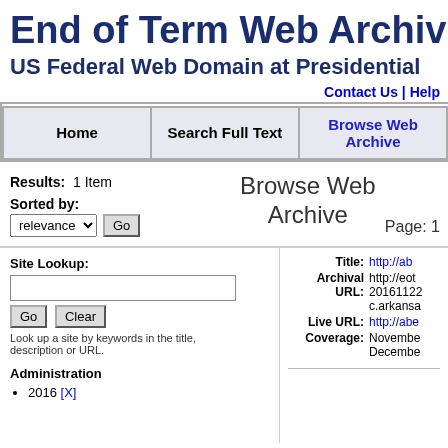End of Term Web Archive
US Federal Web Domain at Presidential
Contact Us | Help
| Home | Search Full Text | Browse Web Archive |
| --- | --- | --- |
Results: 1 Item
Sorted by:
Browse Web Archive
Page: 1
Site Lookup:
Look up a site by keywords in the title, description or URL.
Administration
2016 [X]
Title: http://ab... Archival URL: http://eot...20161222...c.arkansa... Live URL: http://abe... Coverage: November... December...